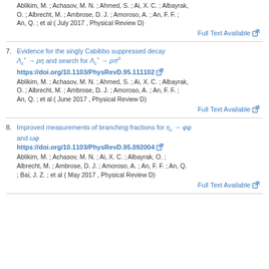Ablikim, M. ; Achasov, M. N. ; Ahmed, S. ; Ai, X. C. ; Albayrak, O. ; Albrecht, M. ; Ambrose, D. J. ; Amoroso, A. ; An, F. F. ; An, Q. ; et al ( July 2017 , Physical Review D)
Full Text Available
7. Evidence for the singly Cabibbo suppressed decay Λc+ → pη and search for Λc+ → pπ0
https://doi.org/10.1103/PhysRevD.95.111102
Ablikim, M. ; Achasov, M. N. ; Ahmed, S. ; Ai, X. C. ; Albayrak, O. ; Albrecht, M. ; Ambrose, D. J. ; Amoroso, A. ; An, F. F. ; An, Q. ; et al ( June 2017 , Physical Review D)
Full Text Available
8. Improved measurements of branching fractions for ηc → φφ and ωφ
https://doi.org/10.1103/PhysRevD.95.092004
Ablikim, M. ; Achasov, M. N. ; Ai, X. C. ; Albayrak, O. ; Albrecht, M. ; Ambrose, D. J. ; Amoroso, A. ; An, F. F. ; An, Q. ; Bai, J. Z. ; et al ( May 2017 , Physical Review D)
Full Text Available